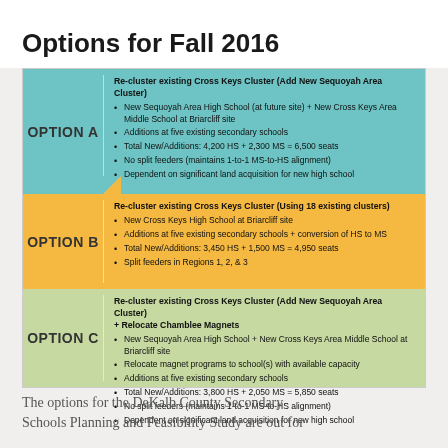Options for Fall 2016
| Option | Description |
| --- | --- |
| OPTION A | Re-cluster existing Cross Keys Cluster (Add New Sequoyah Area Cluster)
• New Sequoyah Area High School (at future site) + New Cross Keys Area Middle School at Briarcliff site
• Additions at five existing secondary schools
• Total New/Additions: 4,200 HS + 2,300 MS = 6,500 seats
• No split feeders (maintains 1-to-1 MS-to-HS alignment)
• Dependent on significant land acquisition for new high school |
| OPTION B | Re-cluster existing Cross Keys Cluster (Using 18 existing clusters)
• New Cross Keys High School at Briarcliff site
• Additions at five existing secondary schools + conversion of HS to MS
• Total New/Additions: 3,450 HS + 1,500 MS = 4,950 seats
• Split feeders in Regions 1, 2, & 3 |
| OPTION C | Re-cluster existing Cross Keys Cluster (Add New Sequoyah Area Cluster) + Relocate Chamblee Magnets
• New Sequoyah Area High School + New Cross Keys Area Middle School at Briarcliff site
• Relocate magnet programs to school(s) with available capacity
• Additions at five existing secondary schools
• Total New/Additions: 3,800 HS + 2,050 MS = 5,850 seats
• No split feeders (maintains 1-to-1 MS-to-HS alignment)
• Dependent on significant land acquisition for new high school |
The options for the DeKalb County Secondary Schools Planning and Feasibility Study are out for